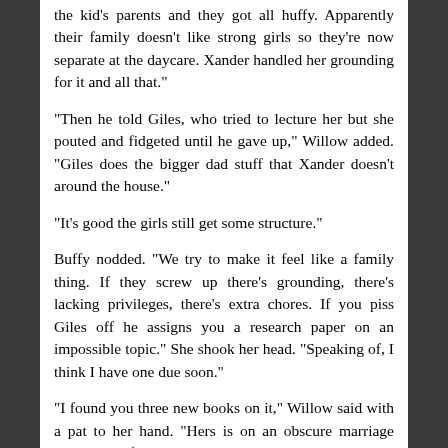the kid's parents and they got all huffy. Apparently their family doesn't like strong girls so they're now separate at the daycare. Xander handled her grounding for it and all that."
"Then he told Giles, who tried to lecture her but she pouted and fidgeted until he gave up," Willow added. "Giles does the bigger dad stuff that Xander doesn't around the house."
"It's good the girls still get some structure."
Buffy nodded. "We try to make it feel like a family thing. If they screw up there's grounding, there's lacking privileges, there's extra chores. If you piss Giles off he assigns you a research paper on an impossible topic." She shook her head. "Speaking of, I think I have one due soon."
"I found you three new books on it," Willow said with a pat to her hand. "Hers is on an obscure marriage myth in a few demon clans about a marriage that created an alliance because she was dating someone Xander took one look at and then pulled out a shotgun loaded with the poisoned holy water shells."
"I don't know how Xander realized he was a